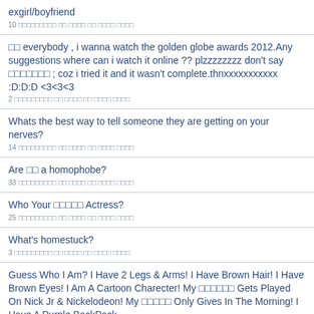exgirl/boyfriend
10 □□□□□□□□□ □□ □□□□ □□ □□□□ □□□□
□□ everybody , i wanna watch the golden globe awards 2012.Any suggestions where can i watch it online ?? plzzzzzzzz don't say □□□□□□□ ; coz i tried it and it wasn't complete.thnxxxxxxxxxxx :D:D:D <3<3<3
2 □□□□□□□□□ □□ □□□□ □□ □□□□ □□□□
Whats the best way to tell someone they are getting on your nerves?
14 □□□□□□□□□ □□ □□□□ □□ □□□□ □□□□
Are □□ a homophobe?
33 □□□□□□□□□ □□ □□□□ □□ □□□□ □□□□
Who Your □□□□□ Actress?
25 □□□□□□□□□ □□ □□□□ □□ □□□□ □□□□
What's homestuck?
3 □□□□□□□□□ □□ □□□□ □□ □□□□ □□□□
Guess Who I Am? I Have 2 Legs & Arms! I Have Brown Hair! I Have Brown Eyes! I Am A Cartoon Charecter! My □□□□□□ Gets Played On Nick Jr & Nickelodeon! My □□□□□ Only Gives In The Morning! I Have A Purple BackPack